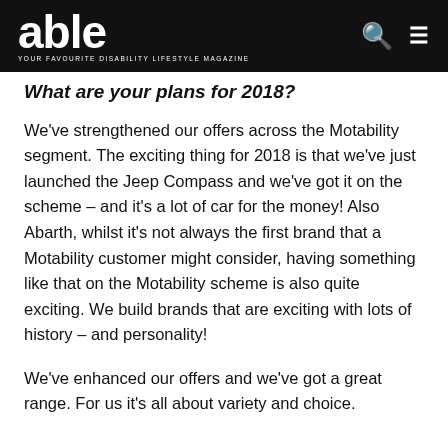able — YOUR FAVOURITE DISABILITY LIFESTYLE MAGAZINE
What are your plans for 2018?
We've strengthened our offers across the Motability segment. The exciting thing for 2018 is that we've just launched the Jeep Compass and we've got it on the scheme – and it's a lot of car for the money! Also Abarth, whilst it's not always the first brand that a Motability customer might consider, having something like that on the Motability scheme is also quite exciting. We build brands that are exciting with lots of history – and personality!
We've enhanced our offers and we've got a great range. For us it's all about variety and choice.